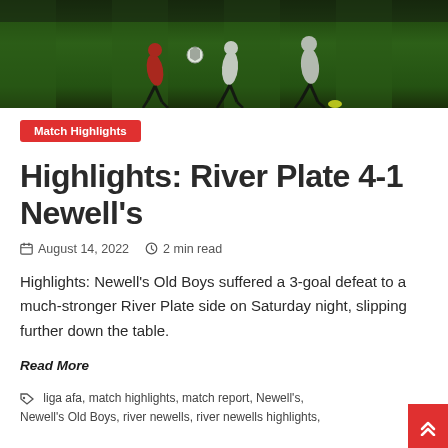[Figure (photo): Soccer players on a green field during a match, action shot]
Match Highlights
Highlights: River Plate 4-1 Newell's
August 14, 2022  2 min read
Highlights: Newell's Old Boys suffered a 3-goal defeat to a much-stronger River Plate side on Saturday night, slipping further down the table.
Read More
liga afa, match highlights, match report, Newell's, Newell's Old Boys, river newells, river newells highlights,